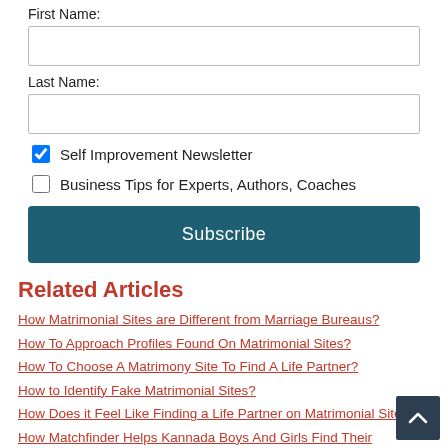First Name:
Last Name:
Self Improvement Newsletter
Business Tips for Experts, Authors, Coaches
Subscribe
Related Articles
How Matrimonial Sites are Different from Marriage Bureaus?
How To Approach Profiles Found On Matrimonial Sites?
How To Choose A Matrimony Site To Find A Life Partner?
How to Identify Fake Matrimonial Sites?
How Does it Feel Like Finding a Life Partner on Matrimonial Site?
How Matchfinder Helps Kannada Boys And Girls Find Their Soulmates?
Why Matchfinder is the Best Odisha Matrimonial Site?